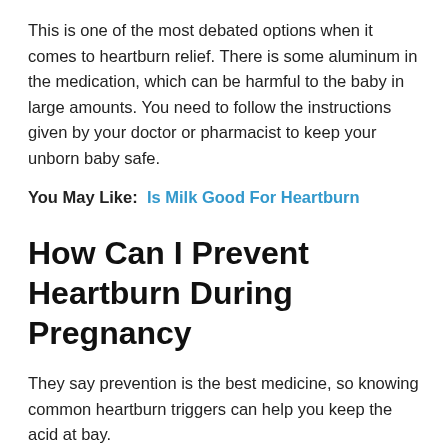This is one of the most debated options when it comes to heartburn relief. There is some aluminum in the medication, which can be harmful to the baby in large amounts. You need to follow the instructions given by your doctor or pharmacist to keep your unborn baby safe.
You May Like:  Is Milk Good For Heartburn
How Can I Prevent Heartburn During Pregnancy
They say prevention is the best medicine, so knowing common heartburn triggers can help you keep the acid at bay.
Of course, pregnancy itself is a major trigger for heartburn.